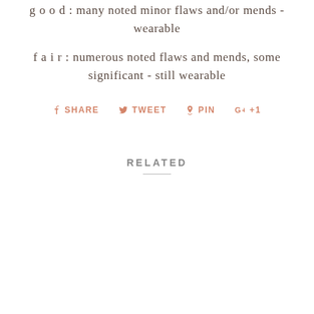g o o d : many noted minor flaws and/or mends - wearable
f a i r : numerous noted flaws and mends, some significant - still wearable
SHARE  TWEET  PIN  +1
RELATED